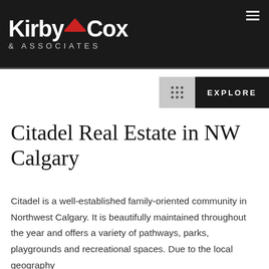Kirby Cox & Associates
EXPLORE
Citadel Real Estate in NW Calgary
Citadel is a well-established family-oriented community in Northwest Calgary. It is beautifully maintained throughout the year and offers a variety of pathways, parks, playgrounds and recreational spaces. Due to the local geography